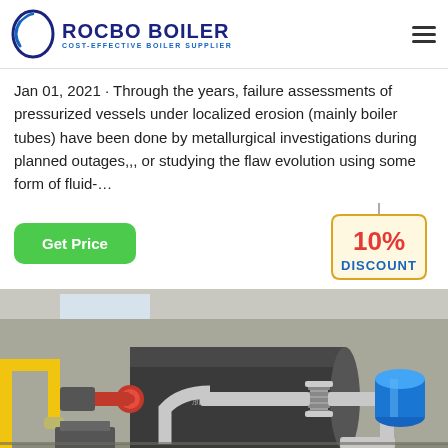ROCBO BOILER - COST-EFFECTIVE BOILER SUPPLIER
Jan 01, 2021 · Through the years, failure assessments of pressurized vessels under localized erosion (mainly boiler tubes) have been done by metallurgical investigations during planned outages,,, or studying the flaw evolution using some form of fluid-...
[Figure (other): Green 'Get Price' button on the left, and a '10% DISCOUNT' badge graphic on the right]
[Figure (photo): Industrial boiler installation showing a large cylindrical boiler with red burner, silver insulated pipes and flexible coupling, yellow gas pipe on left, and blue pressure tank on right, inside a factory building]